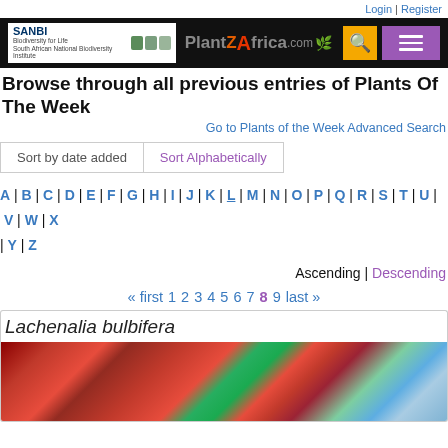Login | Register
[Figure (logo): SANBI PlantZAfrica.com website header with logo, search button, and menu button]
Browse through all previous entries of Plants Of The Week
Go to Plants of the Week Advanced Search
Sort by date added | Sort Alphabetically
A | B | C | D | E | F | G | H | I | J | K | L | M | N | O | P | Q | R | S | T | U | V | W | X | Y | Z
Ascending | Descending
« first  1  2  3  4  5  6  7  8  9  last »
Lachenalia bulbifera
[Figure (photo): Close-up photo of Lachenalia bulbifera, showing bright red tubular flowers with green and purple tips]